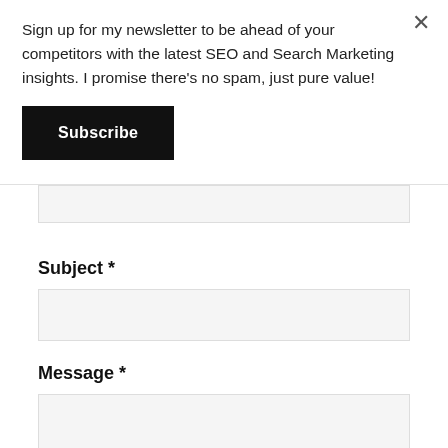Sign up for my newsletter to be ahead of your competitors with the latest SEO and Search Marketing insights. I promise there's no spam, just pure value!
Subscribe
Subject *
Message *